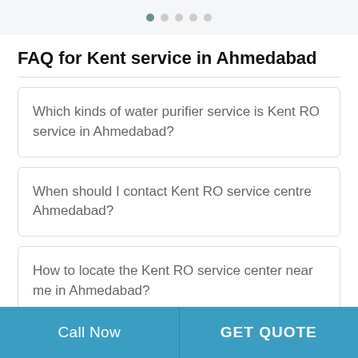• • • • •
FAQ for Kent service in Ahmedabad
Which kinds of water purifier service is Kent RO service in Ahmedabad?
When should I contact Kent RO service centre Ahmedabad?
How to locate the Kent RO service center near me in Ahmedabad?
Call Now | GET QUOTE